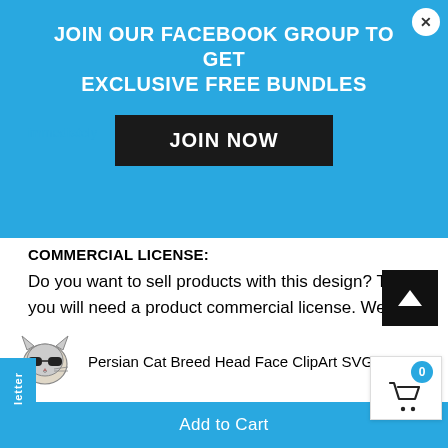[Figure (screenshot): Blue promotional banner overlay with text 'JOIN OUR FACEBOOK GROUP TO GET EXCLUSIVE FREE BUNDLES' and a black JOIN NOW button, with a close X button in the top right corner.]
immediately
COMMERCIAL LICENSE:
Do you want to sell products with this design? Then you will need a product commercial license. We sell two commercial licenses:
1) Basic Commercial License for up to 500 uses
Extended Commercial License for unlimited u...
Persian Cat Breed Head Face ClipArt SVG
Add to Cart